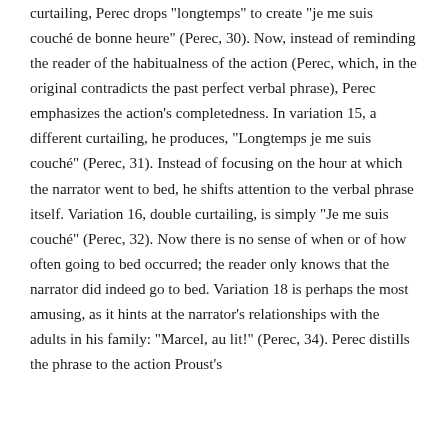curtailing, Perec drops "longtemps" to create "je me suis couché de bonne heure" (Perec, 30). Now, instead of reminding the reader of the habitualness of the action (Perec, which, in the original contradicts the past perfect verbal phrase), Perec emphasizes the action's completedness. In variation 15, a different curtailing, he produces, "Longtemps je me suis couché" (Perec, 31). Instead of focusing on the hour at which the narrator went to bed, he shifts attention to the verbal phrase itself. Variation 16, double curtailing, is simply "Je me suis couché" (Perec, 32). Now there is no sense of when or of how often going to bed occurred; the reader only knows that the narrator did indeed go to bed. Variation 18 is perhaps the most amusing, as it hints at the narrator's relationships with the adults in his family: "Marcel, au lit!" (Perec, 34). Perec distills the phrase to the action Proust's